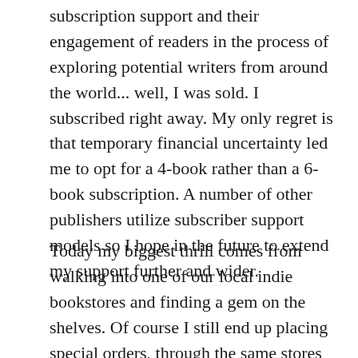subscription support and their engagement of readers in the process of exploring potential writers from around the world... well, I was sold. I subscribed right away. My only regret is that temporary financial uncertainty led me to opt for a 4-book rather than a 6-book subscription. A number of other publishers utilize subscriber support models so I hope in the future to extend my support further and wider.
Today my biggest thrill comes from walking into one of our local indie bookstores and finding a gem on the shelves. Of course I still end up placing special orders, through the same stores or from overseas. And, when there seems to be no option I order e-books but my preference for paper